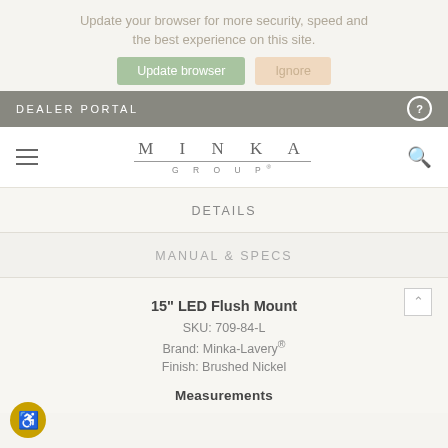Update your browser for more security, speed and the best experience on this site.
Update browser  Ignore
DEALER PORTAL
[Figure (logo): Minka Group logo with stylized text]
DETAILS
MANUAL & SPECS
15" LED Flush Mount
SKU: 709-84-L
Brand: Minka-Lavery®
Finish: Brushed Nickel
Measurements